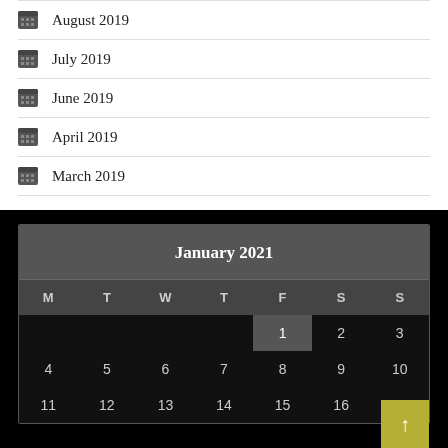August 2019
July 2019
June 2019
April 2019
March 2019
[Figure (other): January 2021 calendar widget with days M T W T F S S, date 1 highlighted on Friday, dates 2-16 visible]